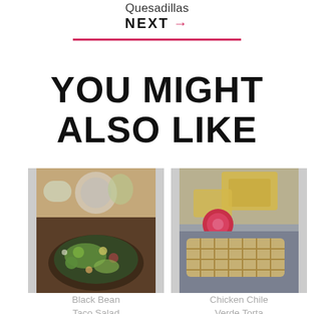Quesadillas
NEXT →
YOU MIGHT ALSO LIKE
[Figure (photo): Food photo of Black Bean Taco Salad — a colorful salad bowl with kale, black beans, avocado, radishes, and vegetables on a wooden surface]
[Figure (photo): Food photo of Chicken Chile Verde Torta — golden waffle-style sandwich with tortilla chips and radishes on a plate]
Black Bean Taco Salad
Chicken Chile Verde Torta